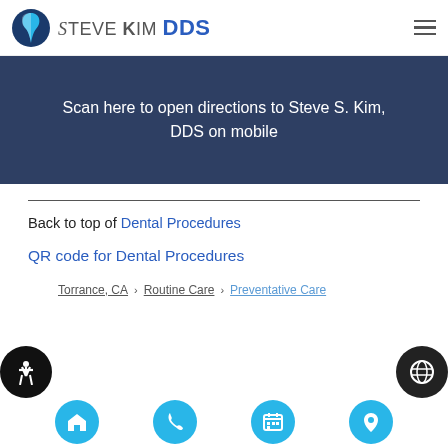Steve Kim DDS
[Figure (screenshot): Blue banner with white text: 'Scan here to open directions to Steve S. Kim, DDS on mobile']
Back to top of Dental Procedures
QR code for Dental Procedures
Torrance, CA > Routine Care > Preventative Care
Accessibility and navigation icon bar at bottom